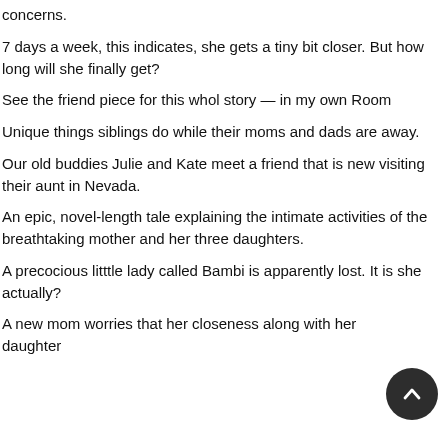concerns.
7 days a week, this indicates, she gets a tiny bit closer. But how long will she finally get?
See the friend piece for this whol story — in my own Room
Unique things siblings do while their moms and dads are away.
Our old buddies Julie and Kate meet a friend that is new visiting their aunt in Nevada.
An epic, novel-length tale explaining the intimate activities of the breathtaking mother and her three daughters.
A precocious litttle lady called Bambi is apparently lost. It is she actually?
A new mom worries that her closeness along with her daughter